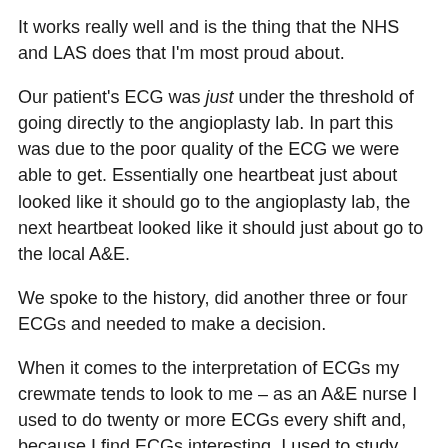It works really well and is the thing that the NHS and LAS does that I'm most proud about.
Our patient's ECG was just under the threshold of going directly to the angioplasty lab. In part this was due to the poor quality of the ECG we were able to get. Essentially one heartbeat just about looked like it should go to the angioplasty lab, the next heartbeat looked like it should just about go to the local A&E.
We spoke to the history, did another three or four ECGs and needed to make a decision.
When it comes to the interpretation of ECGs my crewmate tends to look to me – as an A&E nurse I used to do twenty or more ECGs every shift and, because I find ECGs interesting, I used to study each non-normal one that I took. She recognises that I have a lot more experience looking at these things.